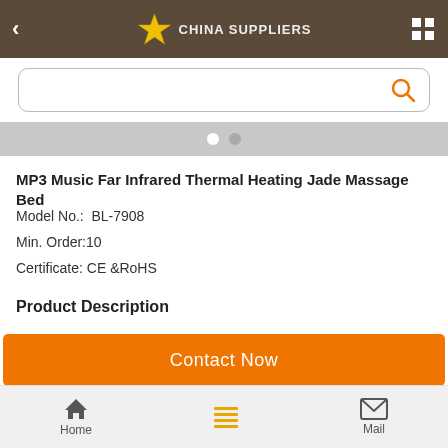[Figure (screenshot): China Suppliers mobile app header with dark brown background, back arrow, star logo, CHINA SUPPLIERS text, and grid icon]
[Figure (screenshot): Search bar with orange magnifying glass icon]
[Figure (screenshot): Slideshow pagination dots area (gray background with two white dots)]
MP3 Music Far Infrared Thermal Heating Jade Massage Bed
Model No.:  BL-7908
Min. Order:10
Certificate: CE &RoHS
Product Description
Model NO.: BL-7908 Style: Thermal Jade and Far Infrared Ray for Healthcar Material: Alloy Frame Folded: Folded Certification: CE &RoHS Function: Folding
[Figure (screenshot): Contact Now orange button]
[Figure (screenshot): Bottom navigation bar with Home, list icon (yellow), and Mail icons]